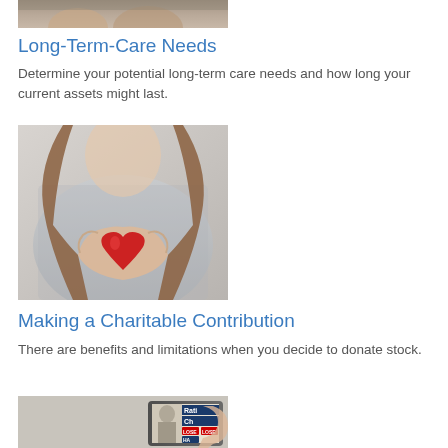[Figure (photo): Partial photo at top of page, cropped torso area]
Long-Term-Care Needs
Determine your potential long-term care needs and how long your current assets might last.
[Figure (photo): Woman holding a red heart in her hands, wearing a lace top]
Making a Charitable Contribution
There are benefits and limitations when you decide to donate stock.
[Figure (photo): Person holding a tablet device showing a slot machine or gambling themed screen with text 'Rati', 'Ch', 'LOSE', 'LOSE', 'HA']